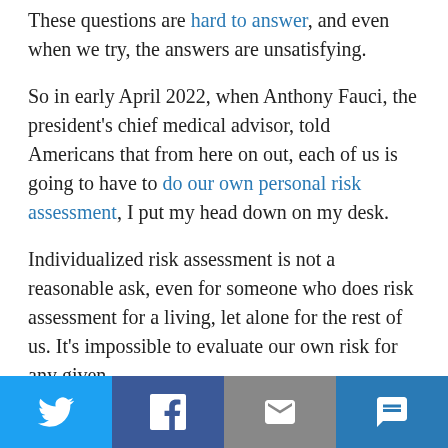These questions are hard to answer, and even when we try, the answers are unsatisfying.
So in early April 2022, when Anthony Fauci, the president's chief medical advisor, told Americans that from here on out, each of us is going to have to do our own personal risk assessment, I put my head down on my desk.
Individualized risk assessment is not a reasonable ask, even for someone who does risk assessment for a living, let alone for the rest of us. It's impossible to evaluate our own risk for any given
[Figure (other): Social sharing bar with Twitter, Facebook, Email, and SMS buttons]